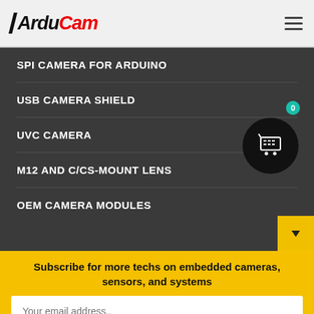ArduCam
SPI CAMERA FOR ARDUINO
USB CAMERA SHIELD
UVC CAMERA
M12 AND C/CS-MOUNT LENS
OEM CAMERA MODULES
Subscribe for more techs on embedded cameras, sensors, and systems
Your email address..
SUBSCRIBE